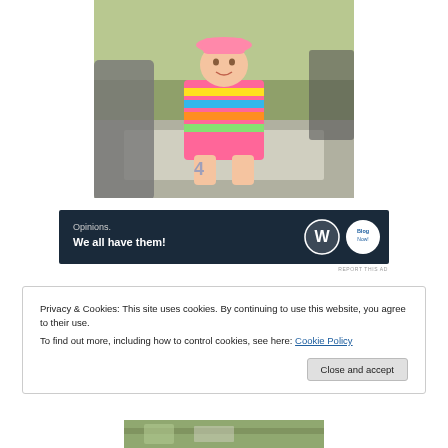[Figure (photo): A young girl wearing a pink hat and colorful striped dress sitting on a concrete bench outdoors, with other people partially visible beside her.]
[Figure (infographic): Advertisement banner with dark navy background reading 'Opinions. We all have them!' with WordPress (W) logo and another circular logo on the right.]
REPORT THIS AD
Privacy & Cookies: This site uses cookies. By continuing to use this website, you agree to their use.
To find out more, including how to control cookies, see here: Cookie Policy
Close and accept
[Figure (photo): Partial view of an outdoor scene, bottom of page.]